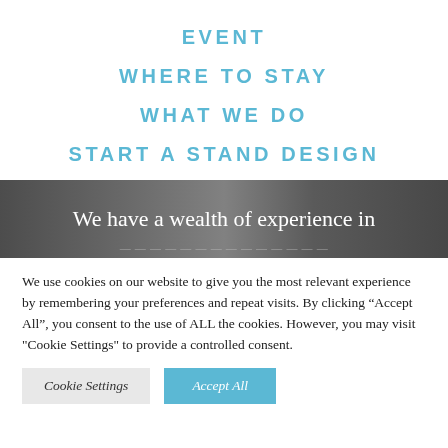EVENT
WHERE TO STAY
WHAT WE DO
START A STAND DESIGN
[Figure (photo): Dark banner with text overlay reading 'We have a wealth of experience in']
We use cookies on our website to give you the most relevant experience by remembering your preferences and repeat visits. By clicking “Accept All”, you consent to the use of ALL the cookies. However, you may visit "Cookie Settings" to provide a controlled consent.
Cookie Settings | Accept All